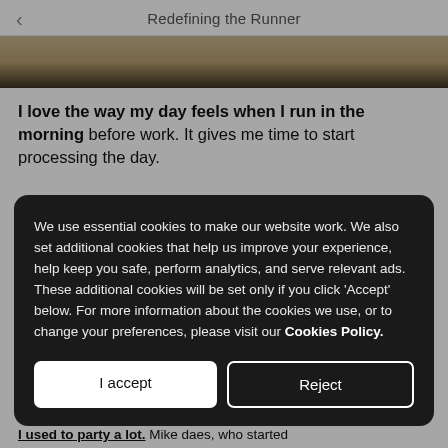Redefining the Runner
[Figure (photo): Partial view of a running shoe or sports item on a textured background, cropped at the top of the page.]
I love the way my day feels when I run in the morning before work. It gives me time to start processing the day.
We use essential cookies to make our website work. We also set additional cookies that help us improve your experience, help keep you safe, perform analytics, and serve relevant ads. These additional cookies will be set only if you click 'Accept' below. For more information about the cookies we use, or to change your preferences, please visit our Cookies Policy.
I used to party a lot. Mike daes, who started